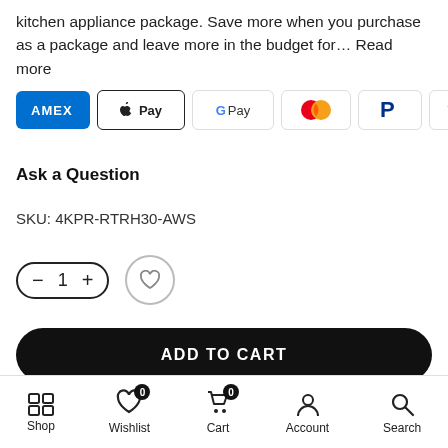kitchen appliance package. Save more when you purchase as a package and leave more in the budget for… Read more
[Figure (infographic): Payment method logos: Amex, Apple Pay, Google Pay, Mastercard, PayPal, Visa]
Ask a Question
SKU: 4KPR-RTRH30-AWS
[Figure (infographic): Quantity selector showing minus, 1, plus buttons and a heart/wishlist button]
[Figure (infographic): ADD TO CART button]
Shop | Wishlist (0) | Cart (0) | Account | Search